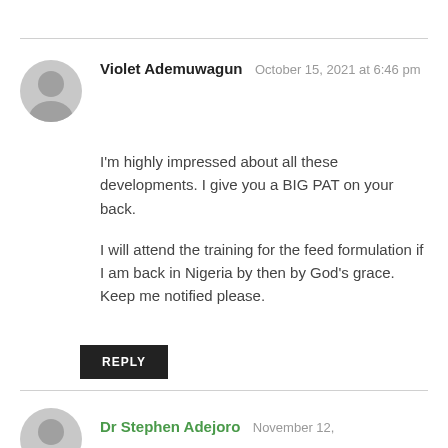Violet Ademuwagun  October 15, 2021 at 6:46 pm
I'm highly impressed about all these developments. I give you a BIG PAT on your back.

I will attend the training for the feed formulation if I am back in Nigeria by then by God's grace. Keep me notified please.
REPLY
Dr Stephen Adejoro  November 12,